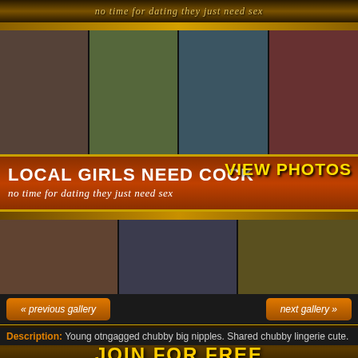no time for dating they just need sex
[Figure (photo): Grid of four outdoor photos of women]
LOCAL GIRLS NEED COCK
no time for dating they just need sex
VIEW PHOTOS
[Figure (photo): Grid of three explicit adult content photos]
DON'T JERK OFF YET - TRY THIS
JOIN FOR FREE
« previous gallery
next gallery »
Description: Young otngagged chubby big nipples. Shared chubby lingerie cute.